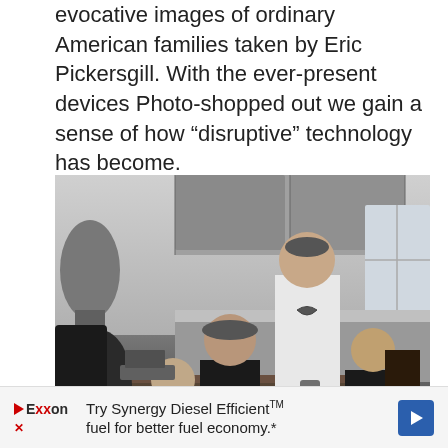evocative images of ordinary American families taken by Eric Pickersgill. With the ever-present devices Photo-shopped out we gain a sense of how “disruptive” technology has become.
[Figure (photo): Black and white photograph of an American family around a kitchen dining table. A woman wearing a cap and tank top sits at the table with a young boy to her left. A man in an Under Armour t-shirt stands behind the table. Another young boy sits on the right side of the table. The kitchen background shows cabinets, countertops, and a window.]
Try Synergy Diesel Efficient™ fuel for better fuel economy.*